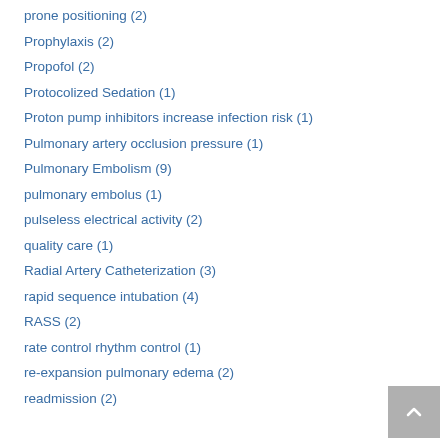prone positioning (2)
Prophylaxis (2)
Propofol (2)
Protocolized Sedation (1)
Proton pump inhibitors increase infection risk (1)
Pulmonary artery occlusion pressure (1)
Pulmonary Embolism (9)
pulmonary embolus (1)
pulseless electrical activity (2)
quality care (1)
Radial Artery Catheterization (3)
rapid sequence intubation (4)
RASS (2)
rate control rhythm control (1)
re-expansion pulmonary edema (2)
readmission (2)